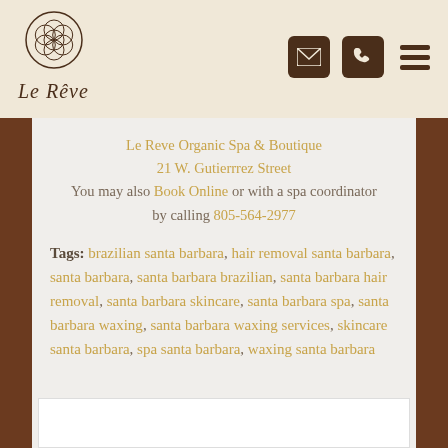[Figure (logo): Le Reve Organic Spa logo with circular geometric ornament and cursive text 'Le Reve']
Le Reve Organic Spa & Boutique
21 W. Gutierrrez Street
You may also Book Online or with a spa coordinator by calling 805-564-2977
Tags: brazilian santa barbara, hair removal santa barbara, santa barbara, santa barbara brazilian, santa barbara hair removal, santa barbara skincare, santa barbara spa, santa barbara waxing, santa barbara waxing services, skincare santa barbara, spa santa barbara, waxing santa barbara